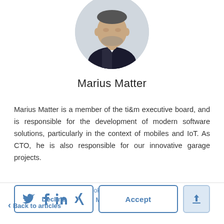[Figure (photo): Circular profile photo of Marius Matter, a man in a dark suit with white shirt, short dark hair with grey, against a light grey background]
Marius Matter
Marius Matter is a member of the ti&m executive board, and is responsible for the development of modern software solutions, particularly in the context of mobiles and IoT. As CTO, he is also responsible for our innovative garage projects.
ti&m website uses cookies to provide the best possible functionality. More informations
< Back to articles
Decline
Accept